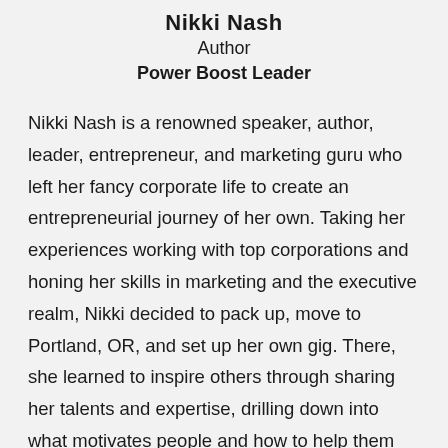Nikki Nash
Author
Power Boost Leader
Nikki Nash is a renowned speaker, author, leader, entrepreneur, and marketing guru who left her fancy corporate life to create an entrepreneurial journey of her own. Taking her experiences working with top corporations and honing her skills in marketing and the executive realm, Nikki decided to pack up, move to Portland, OR, and set up her own gig. There, she learned to inspire others through sharing her talents and expertise, drilling down into what motivates people and how to help them not just sell their products and services, but to find their “inner badass” in the process. Uncovering truths, limiting beliefs and